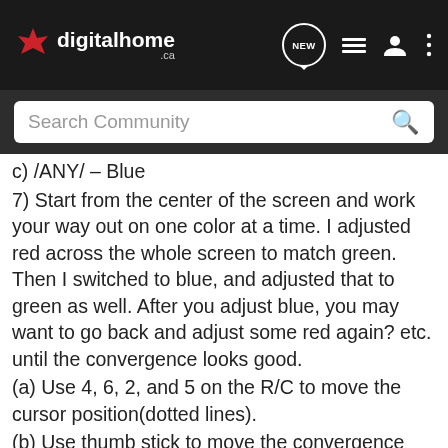digitalhome.ca
Search Community
c) /ANY/ – Blue
7) Start from the center of the screen and work your way out on one color at a time. I adjusted red across the whole screen to match green. Then I switched to blue, and adjusted that to green as well. After you adjust blue, you may want to go back and adjust some red again? etc. until the convergence looks good.
(a) Use 4, 6, 2, and 5 on the R/C to move the cursor position(dotted lines).
(b) Use thumb stick to move the convergence point color.
** There have been other posts in here to tape together the color filters found in the Avia DVD to help converge lines more easily. I have used this method, and it works well for adjusting to a greater detail. Basically, you put the red filter next to the green and adjust your red to the green line both horizontally, and then vertically. Then you do